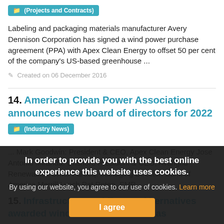(Projects and Contracts)
Labeling and packaging materials manufacturer Avery Dennison Corporation has signed a wind power purchase agreement (PPA) with Apex Clean Energy to offset 50 per cent of the company's US-based greenhouse ...
Created on 06 December 2016
14. American Clean Power Association announces new board of directors for 2022
(Industry News)
... Mark Goodwin: President & CEO, Apex Clean Energy Jose Antonio Miranda: Onshore President & CEO, Avangrid Renewables Omer Farooq: Managing Director, Bank of America Merrill Lynch Pat Roten, SMP...
15. Infrastructure and Energy Alternatives awarded wind co... ntract in Kansas
In order to provide you with the best online experience this website uses cookies.

By using our website, you agree to our use of cookies. Learn more

I agree